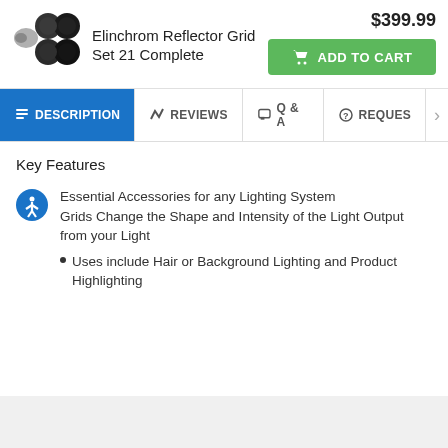[Figure (photo): Product photo of Elinchrom Reflector Grid Set 21 Complete showing black circular grid accessories]
Elinchrom Reflector Grid Set 21 Complete
$399.99
ADD TO CART
DESCRIPTION | REVIEWS | Q & A | REQUES
Key Features
Essential Accessories for any Lighting System Grids Change the Shape and Intensity of the Light Output from your Light
Uses include Hair or Background Lighting and Product Highlighting